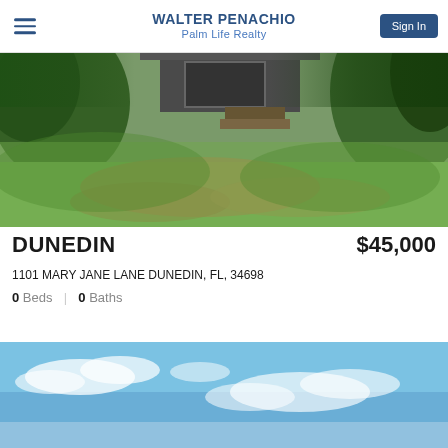WALTER PENACHIO
Palm Life Realty
[Figure (photo): Exterior photo of property at 1101 Mary Jane Lane Dunedin - green overgrown yard with small house/shed visible in background surrounded by tropical vegetation]
DUNEDIN
$45,000
1101 MARY JANE LANE DUNEDIN, FL, 34698
0 Beds  |  0 Baths
[Figure (photo): Sky photo with blue sky and scattered clouds, partial view of second property listing]